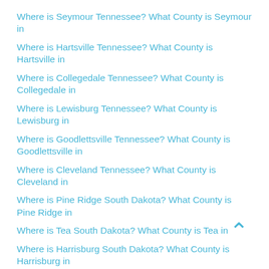Where is Seymour Tennessee? What County is Seymour in
Where is Hartsville Tennessee? What County is Hartsville in
Where is Collegedale Tennessee? What County is Collegedale in
Where is Lewisburg Tennessee? What County is Lewisburg in
Where is Goodlettsville Tennessee? What County is Goodlettsville in
Where is Cleveland Tennessee? What County is Cleveland in
Where is Pine Ridge South Dakota? What County is Pine Ridge in
Where is Tea South Dakota? What County is Tea in
Where is Harrisburg South Dakota? What County is Harrisburg in
Where is Rapid Valley South Dakota? What County is Rapid Valley in
Where is Box Elder South Dakota? What County is Box Elder in